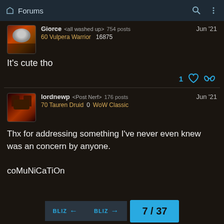Forums
Giorce <all washed up> 754 posts  Jun '21
60 Vulpera Warrior  16875
It's cute tho
1 ♥ 🔗
lordnewp <Post Nerf> 176 posts  Jun '21
70 Tauren Druid  0  WoW Classic
Thx for addressing something I've never even knew was an concern by anyone.

coMuNiCaTiOn
BLIZ ← | BLIZ → | 7 / 37